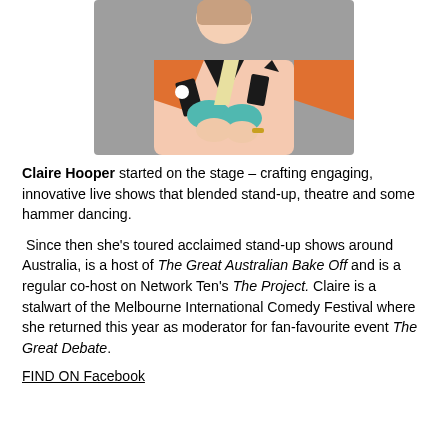[Figure (photo): Portrait photo of Claire Hooper wearing a colourful patterned top with orange, black, teal, and cream geometric shapes against a grey background.]
Claire Hooper started on the stage – crafting engaging, innovative live shows that blended stand-up, theatre and some hammer dancing.
Since then she's toured acclaimed stand-up shows around Australia, is a host of The Great Australian Bake Off and is a regular co-host on Network Ten's The Project. Claire is a stalwart of the Melbourne International Comedy Festival where she returned this year as moderator for fan-favourite event The Great Debate.
FIND ON Facebook